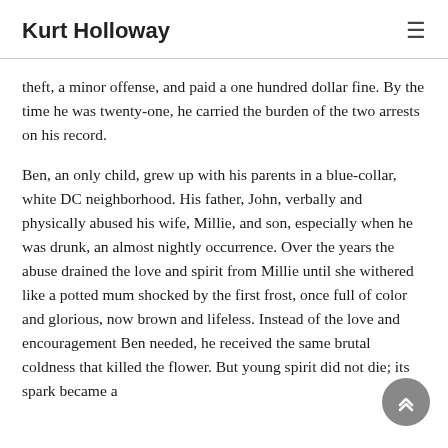Kurt Holloway
theft, a minor offense, and paid a one hundred dollar fine. By the time he was twenty-one, he carried the burden of the two arrests on his record.
Ben, an only child, grew up with his parents in a blue-collar, white DC neighborhood. His father, John, verbally and physically abused his wife, Millie, and son, especially when he was drunk, an almost nightly occurrence. Over the years the abuse drained the love and spirit from Millie until she withered like a potted mum shocked by the first frost, once full of color and glorious, now brown and lifeless. Instead of the love and encouragement Ben needed, he received the same brutal coldness that killed the flower. But young spirit did not die; its spark became a